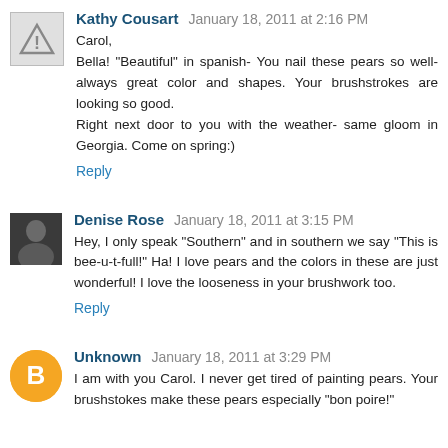[Figure (illustration): Warning/placeholder avatar icon - gray triangle with exclamation mark]
Kathy Cousart January 18, 2011 at 2:16 PM
Carol,
Bella! "Beautiful" in spanish- You nail these pears so well- always great color and shapes. Your brushstrokes are looking so good.
Right next door to you with the weather- same gloom in Georgia. Come on spring:)
Reply
[Figure (photo): Profile photo of Denise Rose - woman in dark top]
Denise Rose January 18, 2011 at 3:15 PM
Hey, I only speak "Southern" and in southern we say "This is bee-u-t-full!" Ha! I love pears and the colors in these are just wonderful! I love the looseness in your brushwork too.
Reply
[Figure (illustration): Blogger orange circle avatar icon with B letter]
Unknown January 18, 2011 at 3:29 PM
I am with you Carol. I never get tired of painting pears. Your brushstokes make these pears especially "bon poire!"